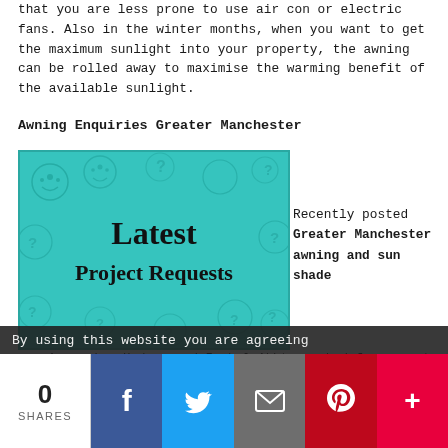that you are less prone to use air con or electric fans. Also in the winter months, when you want to get the maximum sunlight into your property, the awning can be rolled away to maximise the warming benefit of the available sunlight.
Awning Enquiries Greater Manchester
[Figure (illustration): Teal background image with decorative smiley-face pattern, bold text reading 'Latest Project Requests']
Recently posted Greater Manchester awning and sun shade
requirements: Hudson and Isabel Akhtar asked for a quote for repairing two remote controlled awnings on their terraced property near Elton. Hannah Hatton needed a price quote for replacing a driveway awning on her detached property in Hale. Saara Webster asked for a quotation for
By using this website you are agreeing
0
SHARES